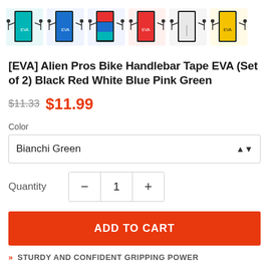[Figure (photo): Six product thumbnail images of Alien Pros Bike Handlebar Tape EVA in different colors (teal/black, blue, multicolor, red, white/black, yellow)]
[EVA] Alien Pros Bike Handlebar Tape EVA (Set of 2) Black Red White Blue Pink Green
$11.33 $11.99
Color
Bianchi Green
Quantity  —  1  +
ADD TO CART
STURDY AND CONFIDENT GRIPPING POWER